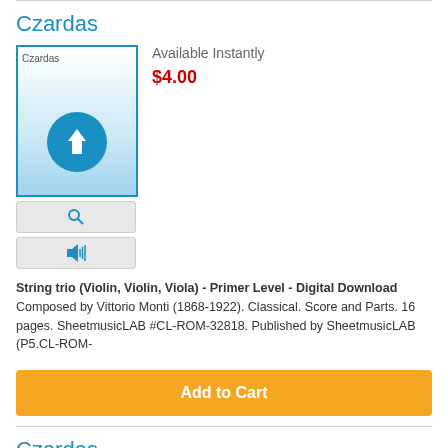Czardas
[Figure (screenshot): Product thumbnail for Czardas sheet music showing a download icon (music note with downward arrow) on a blue gradient background, with preview and audio buttons below]
Available Instantly
$4.00
String trio (Violin, Violin, Viola) - Primer Level - Digital Download
Composed by Vittorio Monti (1868-1922). Classical. Score and Parts. 16 pages. SheetmusicLAB #CL-ROM-32818. Published by SheetmusicLAB (P5.CL-ROM-
Add to Cart
Czardas
[Figure (screenshot): Second product thumbnail for Czardas sheet music]
Available Instantly